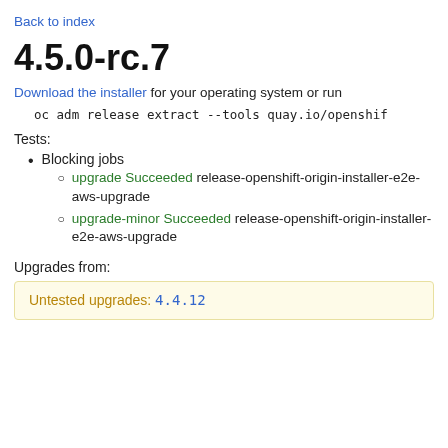Back to index
4.5.0-rc.7
Download the installer for your operating system or run
Tests:
Blocking jobs
upgrade Succeeded release-openshift-origin-installer-e2e-aws-upgrade
upgrade-minor Succeeded release-openshift-origin-installer-e2e-aws-upgrade
Upgrades from:
Untested upgrades: 4.4.12